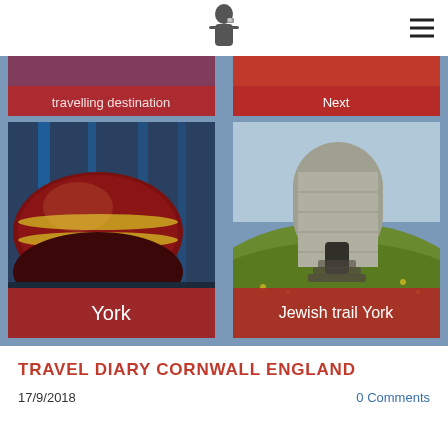[Figure (screenshot): Website header with a small black-and-white portrait logo centered and a hamburger menu icon on the right]
[Figure (photo): Partially visible grid cell (top-left): red overlay with text partially cut off, showing a red/blue background]
[Figure (photo): Partially visible grid cell (top-right): red overlay with text partially cut off]
[Figure (photo): Bottom-left grid cell: close-up photo of a vintage burgundy steam locomotive with gold stripes inside a train museum. Red banner at bottom with text 'York']
[Figure (photo): Bottom-right grid cell: photo of Clifford's Tower, a circular stone medieval tower in York, with green grass and steps. Red banner at bottom with text 'Jewish trail York']
TRAVEL DIARY CORNWALL ENGLAND
17/9/2018
0 Comments